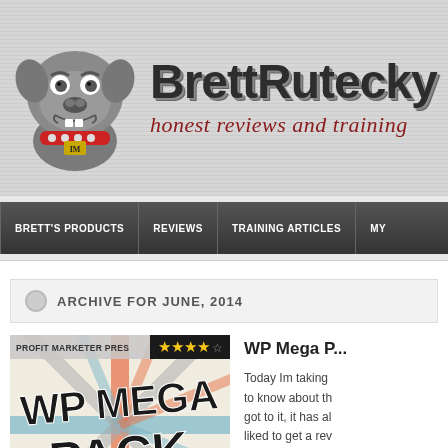[Figure (logo): BrettRutecky website header with bulldog mascot logo, site name 'BrettRutecky' in bold dark text, and tagline 'honest reviews and training' in red italic serif font, on a grey textured background]
BRETT'S PRODUCTS | REVIEWS | TRAINING ARTICLES | MY...
ARCHIVE FOR JUNE, 2014
[Figure (screenshot): WP Mega Pack promotional banner image with 'PROFIT MARKETER PRESENTS' text and 4 star rating, 'WP MEGA PACK' in large graffiti-style text, with colorful sunburst background in orange, blue, teal]
WP Mega P...
Today Im taking to know about th got to it, it has al liked to get a rev impossible to ge